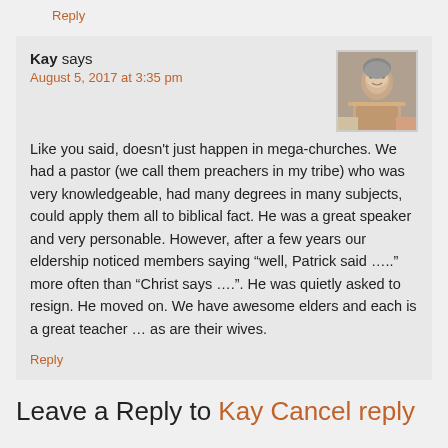Reply
Kay says
August 5, 2017 at 3:35 pm
Like you said, doesn't just happen in mega-churches. We had a pastor (we call them preachers in my tribe) who was very knowledgeable, had many degrees in many subjects, could apply them all to biblical fact. He was a great speaker and very personable. However, after a few years our eldership noticed members saying “well, Patrick said …..” more often than “Christ says ….”. He was quietly asked to resign. He moved on. We have awesome elders and each is a great teacher … as are their wives.
Reply
Leave a Reply to Kay Cancel reply